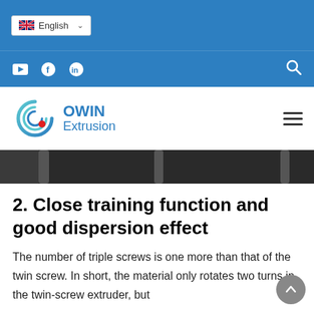[Figure (screenshot): Blue top bar with English language selector (UK flag dropdown)]
[Figure (screenshot): Blue navigation bar with YouTube, Facebook, LinkedIn icons and search icon]
[Figure (logo): COWIN Extrusion logo with teal C swirl graphic and red dot, with hamburger menu]
[Figure (photo): Dark machinery photo strip, partially visible]
2. Close training function and good dispersion effect
The number of triple screws is one more than that of the twin screw. In short, the material only rotates two turns in the twin-screw extruder, but